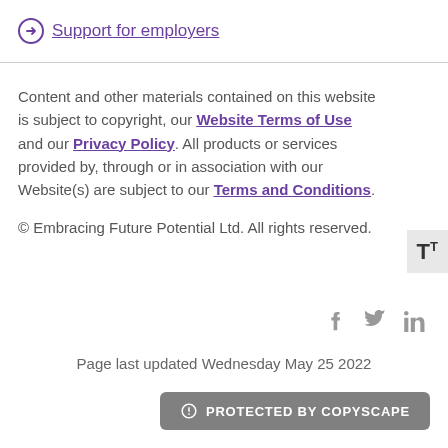→ Support for employers
Content and other materials contained on this website is subject to copyright, our Website Terms of Use and our Privacy Policy. All products or services provided by, through or in association with our Website(s) are subject to our Terms and Conditions.
© Embracing Future Potential Ltd. All rights reserved.
Page last updated Wednesday May 25 2022
[Figure (other): Protected by Copyscape badge]
[Figure (other): Social media icons: Facebook, Twitter, LinkedIn]